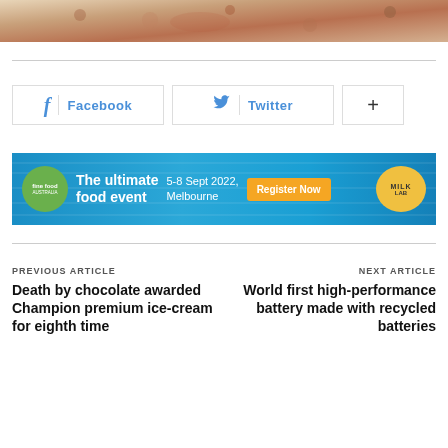[Figure (photo): Top portion of a bread/pastry food photo cropped at the top of the page]
[Figure (infographic): Social media share buttons: Facebook, Twitter, and a plus/more button]
[Figure (infographic): Advertisement banner for Fine Food Australia event: 'The ultimate food event 5-8 Sept 2022, Melbourne - Register Now' with MILKLAB logo]
PREVIOUS ARTICLE
Death by chocolate awarded Champion premium ice-cream for eighth time
NEXT ARTICLE
World first high-performance battery made with recycled batteries